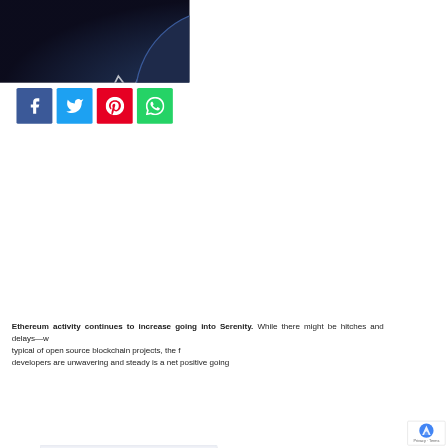[Figure (photo): Dark background image showing an Ethereum coin/logo and a financial chart with white line graph, with the word 'ethereum' overlaid in white text]
[Figure (infographic): Four social media share buttons: Facebook (blue), Twitter (light blue), Pinterest (red), WhatsApp (green)]
| Table of Contents |
| --- |
| 1. The hopes of Serenity |
| 2. ETH exchange flow |
| 3. ETH/USD Price Analysis |
Ethereum activity continues to increase going into Serenity. While there might be hitches and delays—which is typical of open source blockchain projects, the fact that developers are unwavering and steady is a net positive going